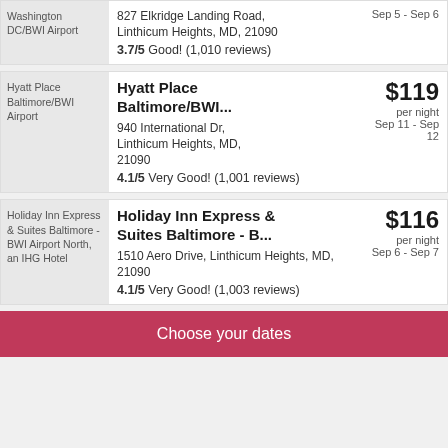Washington DC/BWI Airport
827 Elkridge Landing Road, Linthicum Heights, MD, 21090
Sep 5 - Sep 6
3.7/5 Good! (1,010 reviews)
[Figure (photo): Hyatt Place Baltimore/BWI Airport hotel image placeholder]
Hyatt Place Baltimore/BWI...
$119 per night, Sep 11 - Sep 12
940 International Dr, Linthicum Heights, MD, 21090
4.1/5 Very Good! (1,001 reviews)
[Figure (photo): Holiday Inn Express & Suites Baltimore - BWI Airport North, an IHG Hotel image placeholder]
Holiday Inn Express & Suites Baltimore - B...
$116 per night, Sep 6 - Sep 7
1510 Aero Drive, Linthicum Heights, MD, 21090
4.1/5 Very Good! (1,003 reviews)
Choose your dates